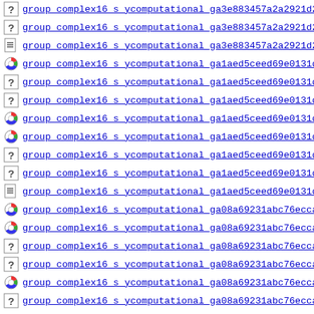group  complex16 s ycomputational  ga3e883457a2a2921d2
group  complex16 s ycomputational  ga3e883457a2a2921d2
group  complex16 s ycomputational  ga3e883457a2a2921d2
group  complex16 s ycomputational  ga1aed5ceed69e0131d
group  complex16 s ycomputational  ga1aed5ceed69e0131d
group  complex16 s ycomputational  ga1aed5ceed69e0131d
group  complex16 s ycomputational  ga1aed5ceed69e0131d
group  complex16 s ycomputational  ga1aed5ceed69e0131d
group  complex16 s ycomputational  ga1aed5ceed69e0131d
group  complex16 s ycomputational  ga1aed5ceed69e0131d
group  complex16 s ycomputational  ga1aed5ceed69e0131d
group  complex16 s ycomputational  ga08a69231abc76ecca
group  complex16 s ycomputational  ga08a69231abc76ecca
group  complex16 s ycomputational  ga08a69231abc76ecca
group  complex16 s ycomputational  ga08a69231abc76ecca
group  complex16 s ycomputational  ga08a69231abc76ecca
group  complex16 s ycomputational  ga08a69231abc76ecca